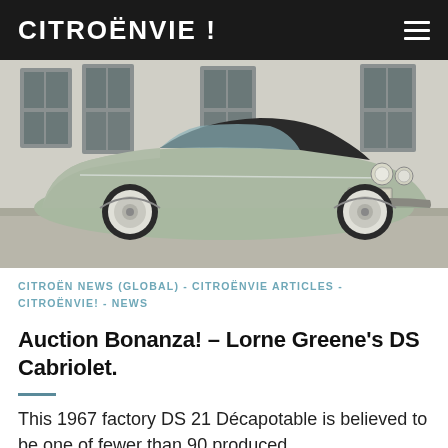CITROËNVIE !
[Figure (photo): A light sage-green 1967 Citroën DS 21 Décapotable (cabriolet/convertible) with black soft-top, photographed three-quarter front view in front of a stone building with tall windows. The car has chrome headlamps, distinctive DS styling with sloping hood and flowing body.]
CITROËN NEWS (GLOBAL) - CITROËNVIE ARTICLES - CITROËNVIE! - NEWS
Auction Bonanza! – Lorne Greene's DS Cabriolet.
This 1967 factory DS 21 Décapotable is believed to be one of fewer than 90 produced